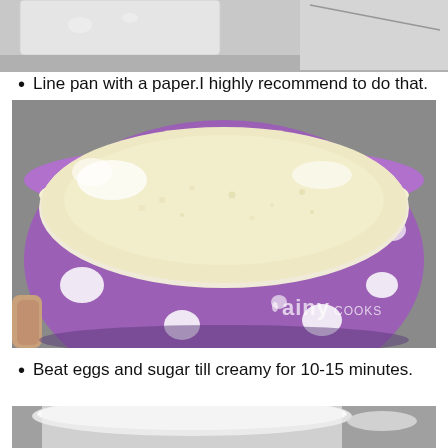[Figure (photo): Top portion of a photo showing a baking pan with white lining/paper on a surface, partially visible at top of page]
Line pan with a paper.I highly recommend to do that.
[Figure (photo): A purple round baking pan with white polka dots containing a creamy pale yellow egg and sugar batter mixture. A watermark reads 'ainy COOKS' in the bottom right corner.]
Beat eggs and sugar till creamy for 10-15 minutes.
[Figure (photo): Bottom portion of a photo showing a white bowl or container, partially visible at bottom of page]